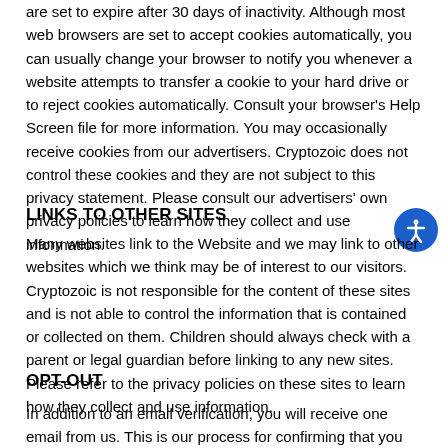are set to expire after 30 days of inactivity. Although most web browsers are set to accept cookies automatically, you can usually change your browser to notify you whenever a website attempts to transfer a cookie to your hard drive or to reject cookies automatically. Consult your browser's Help Screen file for more information. You may occasionally receive cookies from our advertisers. Cryptozoic does not control these cookies and they are not subject to this privacy statement. Please consult our advertisers' own privacy policies to learn how they collect and use information.
LINKS TO OTHER SITES
Many websites link to the Website and we may link to other websites which we think may be of interest to our visitors. Cryptozoic is not responsible for the content of these sites and is not able to control the information that is contained or collected on them. Children should always check with a parent or legal guardian before linking to any new sites. Please refer to the privacy policies on these sites to learn how they collect and use information.
OPT-OUT
In addition to an email verification, you will receive one email from us. This is our process for confirming that you are a real person. From this email, or any email